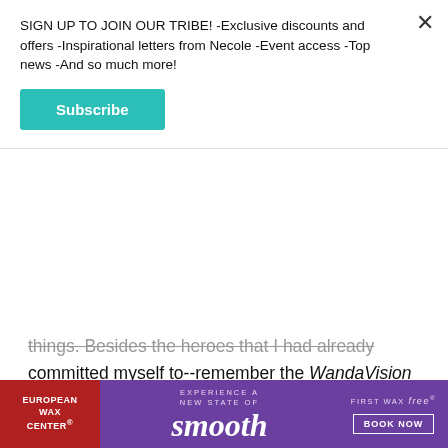SIGN UP TO JOIN OUR TRIBE! -Exclusive discounts and offers -Inspirational letters from Necole -Event access -Top news -And so much more!
Subscribe
committed myself to--remember the WandaVision review from a second ago--I didn't feel the desire to get attached to a new hero. I didn't have the care to see the same story told through another animation. I had seen it all. So much so that I believed I could tell the story myself.
So, when I finally sat down to watch Invincible, I
[Figure (advertisement): European Wax Center ad banner with purple background, red left section, 'smooth' text in white italic, 'FIRST WAX free BOOK NOW' on right]